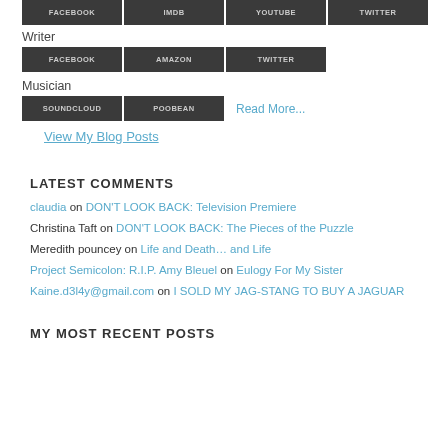FACEBOOK | IMDB | YOUTUBE | TWITTER (buttons)
Writer
FACEBOOK | AMAZON | TWITTER (buttons)
Musician
SOUNDCLOUD | POOBEAN (buttons) | Read More...
View My Blog Posts
LATEST COMMENTS
claudia on DON'T LOOK BACK: Television Premiere
Christina Taft on DON'T LOOK BACK: The Pieces of the Puzzle
Meredith pouncey on Life and Death… and Life
Project Semicolon: R.I.P. Amy Bleuel on Eulogy For My Sister
Kaine.d3l4y@gmail.com on I SOLD MY JAG-STANG TO BUY A JAGUAR
MY MOST RECENT POSTS